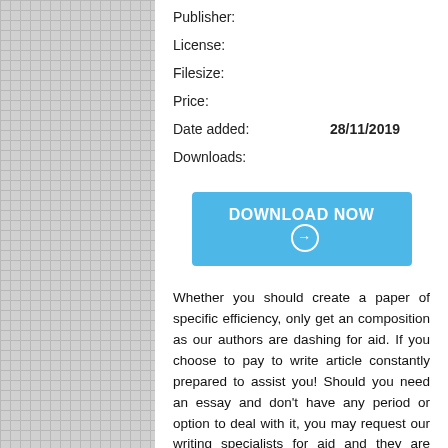Publisher:
License:
Filesize:
Price:
Date added:    28/11/2019
Downloads:
[Figure (other): Blue download button with text DOWNLOAD NOW and arrow circle icon]
Whether you should create a paper of specific efficiency, only get an composition as our authors are dashing for aid. If you choose to pay to write article constantly prepared to assist you! Should you need an essay and don't have any period or option to deal with it, you may request our writing specialists for aid and they are going to be content to publish any form of documents for you, providing you an alternative to devote your time and energy efficiently. From the contemporary world you opted to purchase